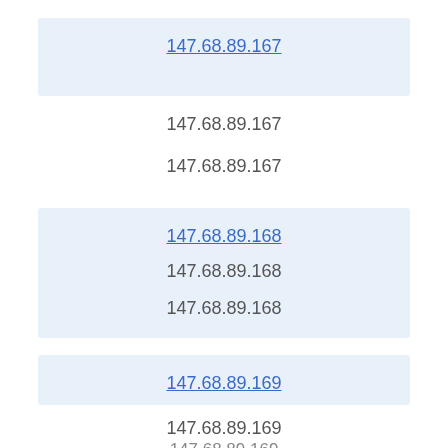147.68.89.167 (link), 147.68.89.167, 147.68.89.167
147.68.89.168 (link), 147.68.89.168, 147.68.89.168
147.68.89.169 (link), 147.68.89.169, 147.68.89.169